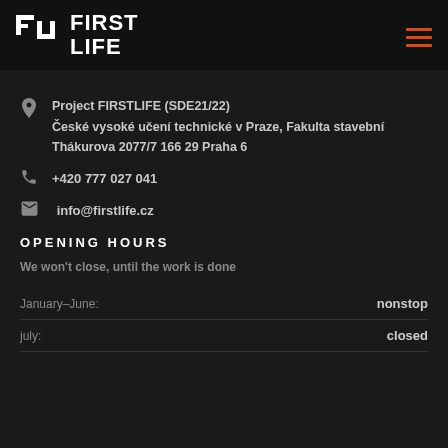[Figure (logo): FIRST LIFE logo with geometric icon on black header bar]
Project FIRSTLIFE (SDE21/22)
České vysoké učení technické v Praze, Fakulta stavební
Thákurova 2077/7 166 29 Praha 6
+420 777 027 041
info@firstlife.cz
OPENING HOURS
We won't close, until the work is done
| Period | Hours |
| --- | --- |
| January–June: | nonstop |
| july: | closed |